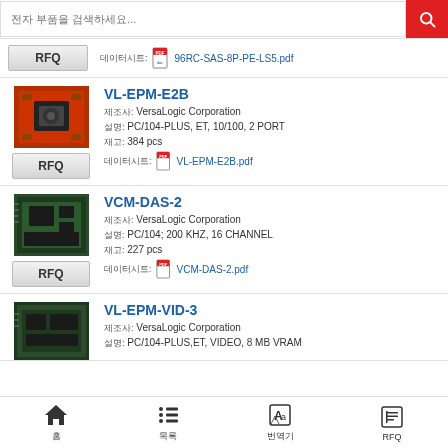[Figure (screenshot): Search bar with red search button]
데이터시트: 96RC-SAS-8P-PE-LS5.pdf (PDF link)
VL-EPM-E2B
제조사: VersaLogic Corporation
설명: PC/104-PLUS, ET, 10/100, 2 PORT
재고: 384 pcs
데이터시트: VL-EPM-E2B.pdf
VCM-DAS-2
제조사: VersaLogic Corporation
설명: PC/104; 200 KHZ, 16 CHANNEL
재고: 227 pcs
데이터시트: VCM-DAS-2.pdf
VL-EPM-VID-3
제조사: VersaLogic Corporation
설명: PC/104-PLUS,ET, VIDEO, 8 MB VRAM
홈   목록   번역기   RFQ